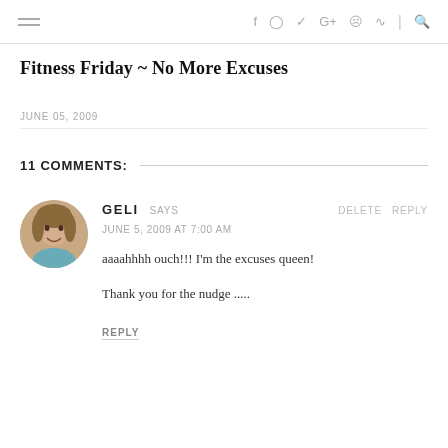Fitness Friday ~ No More Excuses — navigation bar with hamburger menu and social icons
Fitness Friday ~ No More Excuses
JUNE 05, 2009
11 COMMENTS:
GELI SAYS
JUNE 5, 2009 AT 7:00 AM
aaaahhhh ouch!!! I'm the excuses queen!
Thank you for the nudge .....
REPLY